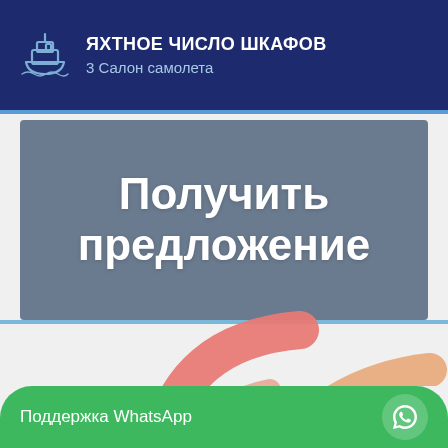ЯХТНОЕ ЧИСЛО ШКАФОВ
3 Салон самолета
[Figure (other): Banner with bold Russian text 'Получить предложение' on grey background]
[Figure (illustration): Decorative colorful arcs in salmon, peach, and red colors at bottom of page]
Поддержка WhatsApp